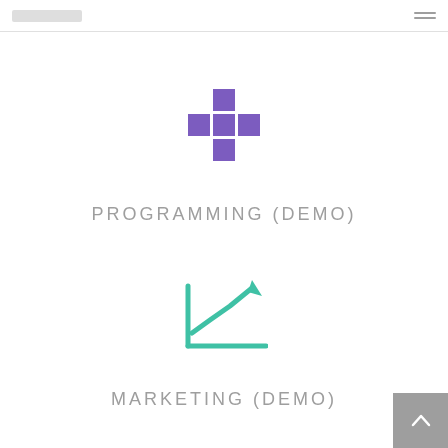[Figure (logo): Purple cross/grid icon made of squares representing a programming or app icon]
PROGRAMMING (DEMO)
[Figure (illustration): Teal/green line chart icon with upward trend arrow]
MARKETING (DEMO)